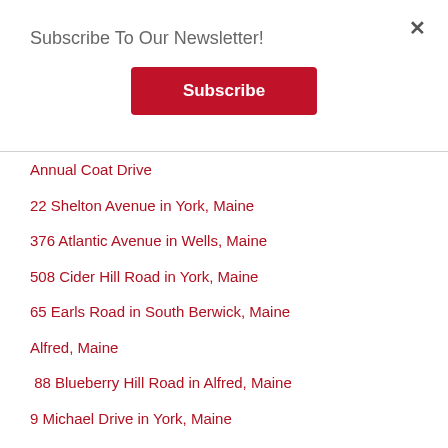×
Subscribe To Our Newsletter!
Subscribe
Annual Coat Drive
22 Shelton Avenue in York, Maine
376 Atlantic Avenue in Wells, Maine
508 Cider Hill Road in York, Maine
65 Earls Road in South Berwick, Maine
Alfred, Maine
88 Blueberry Hill Road in Alfred, Maine
9 Michael Drive in York, Maine
64 Madison Street in North Berwick, Maine
South Berwick, Maine
16 Surf Avenue in York, Maine
142 Airport Drive in York, Maine
780 Main Street in Sanford, Maine